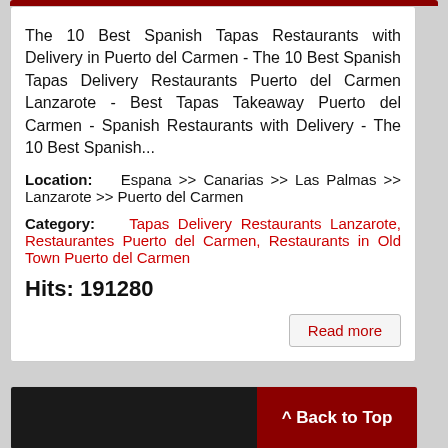The 10 Best Spanish Tapas Restaurants with Delivery in Puerto del Carmen - The 10 Best Spanish Tapas Delivery Restaurants Puerto del Carmen Lanzarote - Best Tapas Takeaway Puerto del Carmen - Spanish Restaurants with Delivery - The 10 Best Spanish...
Location:   Espana >> Canarias >> Las Palmas >> Lanzarote >> Puerto del Carmen
Category:   Tapas Delivery Restaurants Lanzarote, Restaurantes Puerto del Carmen, Restaurants in Old Town Puerto del Carmen
Hits: 191280
Read more
[Figure (photo): Bottom card showing a partially visible photo on the left and a dark red 'Back to Top' button on the right]